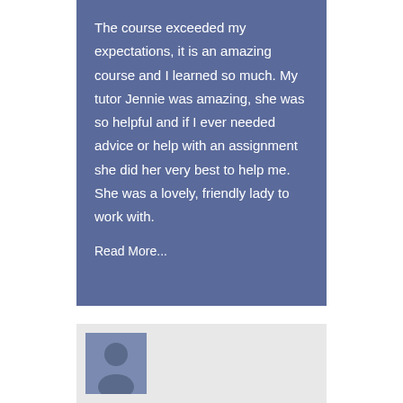The course exceeded my expectations, it is an amazing course and I learned so much. My tutor Jennie was amazing, she was so helpful and if I ever needed advice or help with an assignment she did her very best to help me. She was a lovely, friendly lady to work with.
Read More...
[Figure (photo): Generic user avatar/profile photo placeholder showing a silhouette of a person on a blue-grey background]